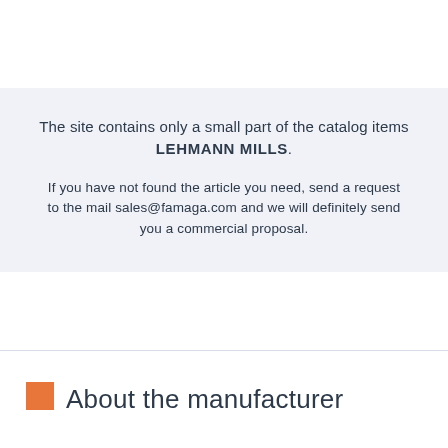The site contains only a small part of the catalog items LEHMANN MILLS.
If you have not found the article you need, send a request to the mail sales@famaga.com and we will definitely send you a commercial proposal.
About the manufacturer